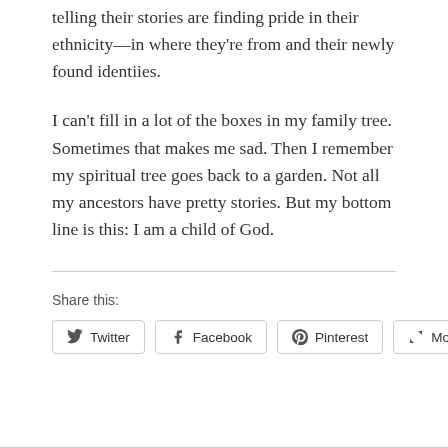telling their stories are finding pride in their ethnicity—in where they're from and their newly found identiies.
I can't fill in a lot of the boxes in my family tree. Sometimes that makes me sad. Then I remember my spiritual tree goes back to a garden. Not all my ancestors have pretty stories. But my bottom line is this: I am a child of God.
Share this:
[Figure (other): Social share buttons for Twitter, Facebook, Pinterest, and More]